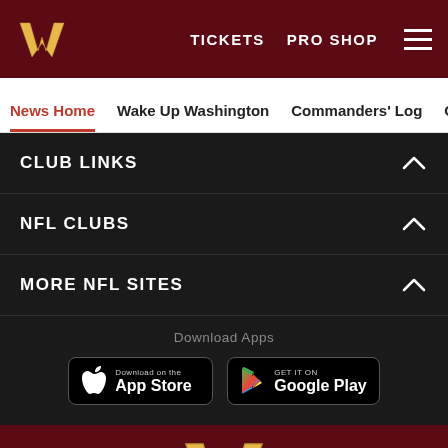[Figure (screenshot): Washington Commanders website navigation header with dark maroon background, W logo, TICKETS, PRO SHOP links and hamburger menu]
News Home  Wake Up Washington  Commanders' Log  Off The R
CLUB LINKS
NFL CLUBS
MORE NFL SITES
Download Apps
[Figure (logo): Download on the App Store button]
[Figure (logo): Get it on Google Play button]
[Figure (logo): Washington Commanders W logo in footer]
[Figure (infographic): Social share icons: Facebook, Twitter, Email, Link]